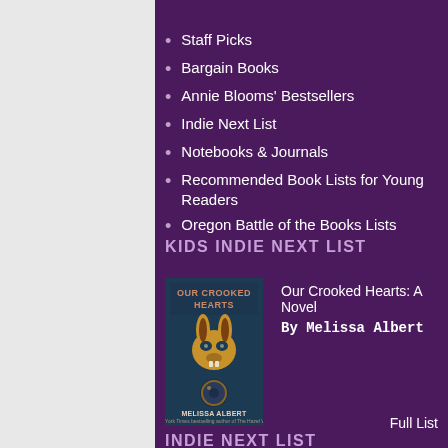Staff Picks
Bargain Books
Annie Blooms' Bestsellers
Indie Next List
Notebooks & Journals
Recommended Book Lists for Young Readers
Oregon Battle of the Books Lists
KIDS INDIE NEXT LIST
[Figure (illustration): Book cover of 'Our Crooked Hearts' by Melissa Albert, featuring a golden rabbit skull on a dark blue background]
Our Crooked Hearts: A Novel
By Melissa Albert
Full List
INDIE NEXT LIST